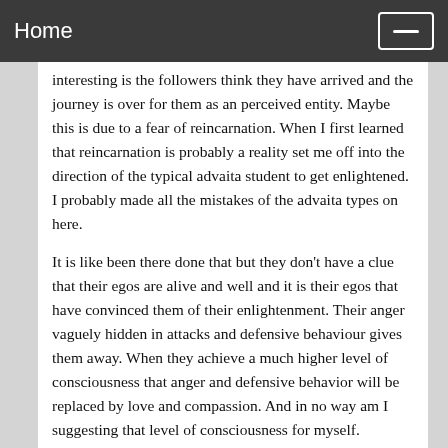Home
interesting is the followers think they have arrived and the journey is over for them as an perceived entity. Maybe this is due to a fear of reincarnation. When I first learned that reincarnation is probably a reality set me off into the direction of the typical advaita student to get enlightened. I probably made all the mistakes of the advaita types on here.
It is like been there done that but they don't have a clue that their egos are alive and well and it is their egos that have convinced them of their enlightenment. Their anger vaguely hidden in attacks and defensive behaviour gives them away. When they achieve a much higher level of consciousness that anger and defensive behavior will be replaced by love and compassion. And in no way am I suggesting that level of consciousness for myself.
One advaita student/guru that I highly recommend is Andrew Vernon. What a treat to dialog on the net with this very knowledgeable and compassionate person not afraid to say “I don’t have all the answers” person. A rare